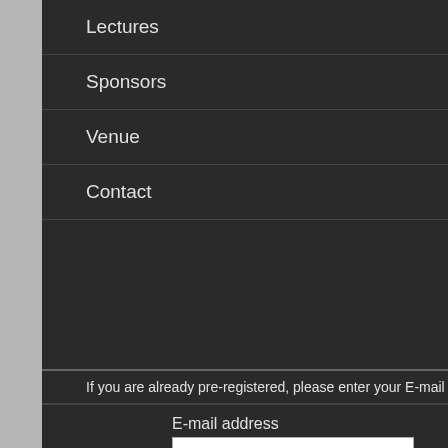Lectures
Sponsors
Venue
Contact
If you are already pre-registered, please enter your E-mail address and
E-mail address
Password
Sign in
Forgotten password
Home
Dear colleagues,